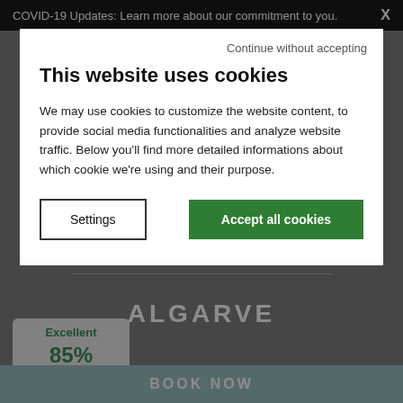COVID-19 Updates: Learn more about our commitment to you.   X
Continue without accepting
This website uses cookies
We may use cookies to customize the website content, to provide social media functionalities and analyze website traffic. Below you'll find more detailed informations about which cookie we're using and their purpose.
Settings
Accept all cookies
Hotel Real Oeiras
ALGARVE
Excellent
85%
1864 verified reviews
BOOK NOW